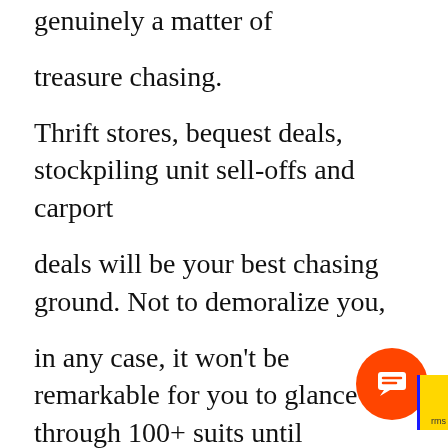genuinely a matter of

treasure chasing.

Thrift stores, bequest deals, stockpiling unit sell-offs and carport

deals will be your best chasing ground. Not to demoralize you,

in any case, it won't be remarkable for you to glance through 100+ suits until

you may discover one “great” one. Fortu after you